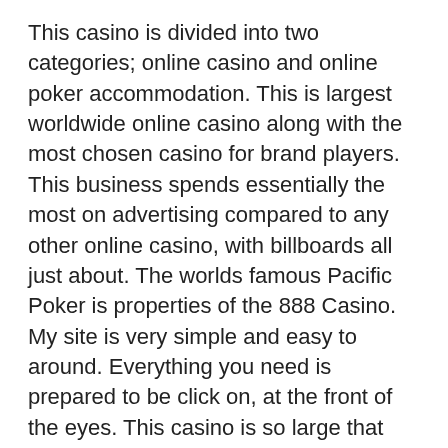This casino is divided into two categories; online casino and online poker accommodation. This is largest worldwide online casino along with the most chosen casino for brand players. This business spends essentially the most on advertising compared to any other online casino, with billboards all just about. The worlds famous Pacific Poker is properties of the 888 Casino. My site is very simple and easy to around. Everything you need is prepared to be click on, at the front of the eyes. This casino is so large that you should even on London Currency markets. This casino is also a proud sponsor of the Middlesborough FC and Sevilla FC soccer club.
casino slots, blackjack, roulette, different casino games are a relaxing way to rest after each and every day of labor. You may choose to open a bank account with a selected online casino operator. Some online gaming sites offer bonus dollars into your bank